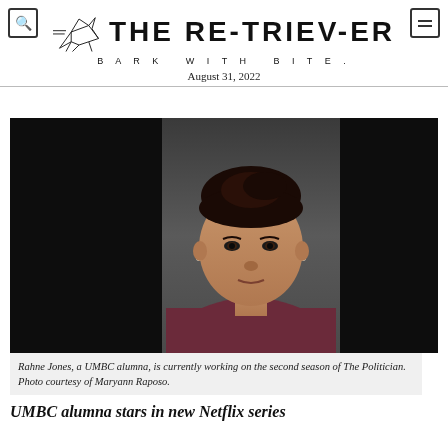THE RE-TRIEV-ER — BARK WITH BITE. — August 31, 2022
[Figure (photo): Headshot portrait of Rahne Jones, a UMBC alumna, wearing a dark maroon top, with braided hair pinned up, against a dark studio background.]
Rahne Jones, a UMBC alumna, is currently working on the second season of The Politician. Photo courtesy of Maryann Raposo.
UMBC alumna stars in new Netflix series